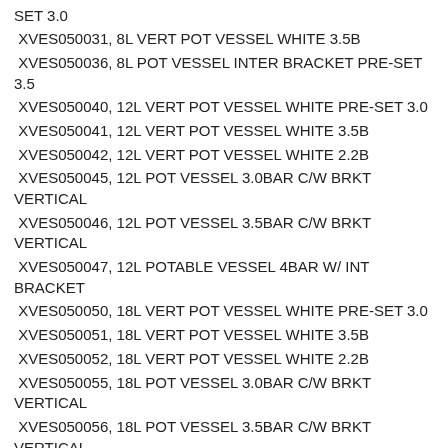SET 3.0
XVES050031, 8L VERT POT VESSEL WHITE 3.5B
XVES050036, 8L POT VESSEL INTER BRACKET PRE-SET 3.5
XVES050040, 12L VERT POT VESSEL WHITE PRE-SET 3.0
XVES050041, 12L VERT POT VESSEL WHITE 3.5B
XVES050042, 12L VERT POT VESSEL WHITE 2.2B
XVES050045, 12L POT VESSEL 3.0BAR C/W BRKT VERTICAL
XVES050046, 12L POT VESSEL 3.5BAR C/W BRKT VERTICAL
XVES050047, 12L POTABLE VESSEL 4BAR W/ INT BRACKET
XVES050050, 18L VERT POT VESSEL WHITE PRE-SET 3.0
XVES050051, 18L VERT POT VESSEL WHITE 3.5B
XVES050052, 18L VERT POT VESSEL WHITE 2.2B
XVES050055, 18L POT VESSEL 3.0BAR C/W BRKT VERTICAL
XVES050056, 18L POT VESSEL 3.5BAR C/W BRKT VERTICAL
XVES050057, 18L POTABLE VESSEL 4.0BAR W/